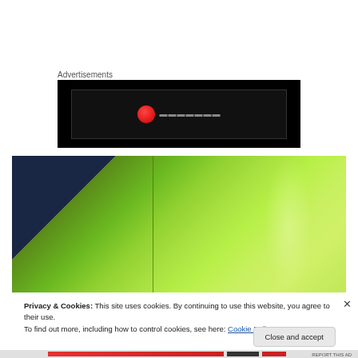Advertisements
[Figure (screenshot): Advertisement banner with black background showing a red circular icon and dark text elements]
[Figure (photo): Close-up photo of bright green/lime fabric or jacket with a vertical seam, partially overlapping dark navy blue fabric on the left side]
Privacy & Cookies: This site uses cookies. By continuing to use this website, you agree to their use.
To find out more, including how to control cookies, see here: Cookie Policy
Close and accept